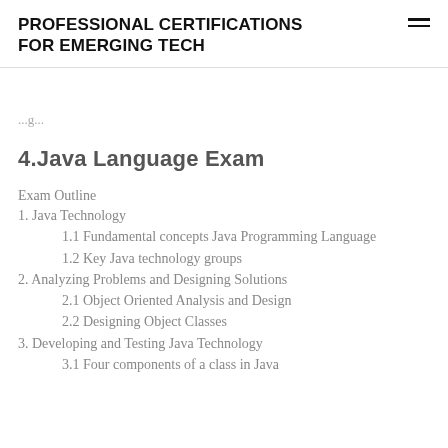PROFESSIONAL CERTIFICATIONS FOR EMERGING TECH
...g...
4.Java Language Exam
Exam Outline
1. Java Technology
1.1 Fundamental concepts Java Programming Language
1.2 Key Java technology groups
2. Analyzing Problems and Designing Solutions
2.1 Object Oriented Analysis and Design
2.2 Designing Object Classes
3. Developing and Testing Java Technology
3.1 Four components of a class in Java